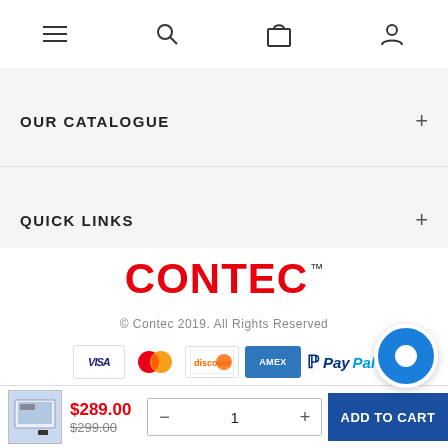Navigation bar with menu, search, cart, and account icons
OUR CATALOGUE +
QUICK LINKS +
[Figure (logo): CONTEC logo in red bold text with TM superscript]
© Contec 2019. All Rights Reserved
[Figure (other): Payment icons: VISA, Mastercard, Discover, AMEX, PayPal]
$289.00 $299.00 — 1 + ADD TO CART